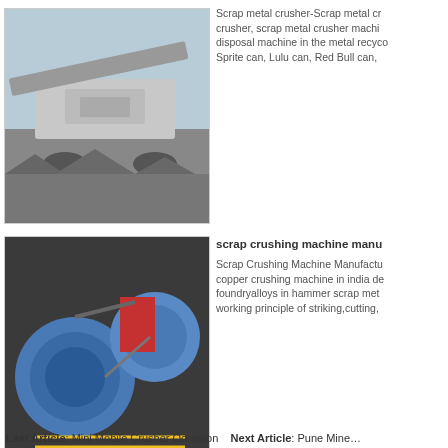[Figure (photo): Aerial view of a mobile scrap metal crusher machine outdoors processing rock/metal debris]
Scrap metal crusher-Scrap metal crusher, scrap metal crusher machi disposal machine in the metal recyco Sprite can, Lulu can, Red Bull can,
[Figure (photo): Overhead view of a large industrial scrap crushing machine with blue drums and yellow safety markings]
scrap crushing machine manu
Scrap Crushing Machine Manufactu copper crushing machine in india de foundryalloys in hammer scrap met working principle of striking,cutting,
[Figure (photo): Side view of a large yellow used scrap metal pre crusher machine in a desert/arid environment]
Used Scrap Metal Pre Crusher
Used Metal Crusher, Used Metal Cr About 47% of these are stone crush options are available to you, such a crusher YouTube
Last Article: Mini Mobile Crusher Occasion    Next Article: Pune Mine…